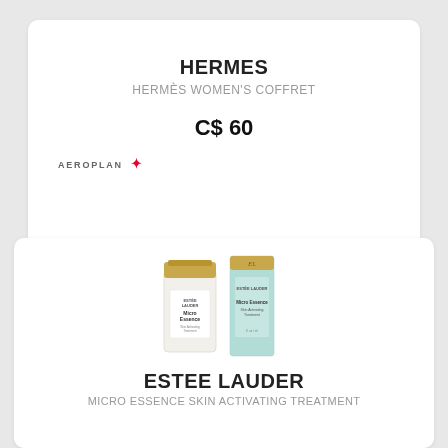HERMES
HERMÈS WOMEN'S COFFRET
C$ 60
[Figure (logo): Aeroplan logo with red star]
[Figure (photo): Estee Lauder Micro Essence bottle and box product photo]
ESTEE LAUDER
MICRO ESSENCE SKIN ACTIVATING TREATMENT